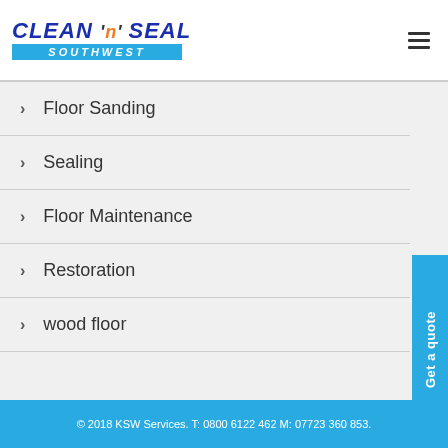[Figure (logo): Clean 'n' Seal Southwest company logo with blue text and cyan banner]
Floor Sanding
Sealing
Floor Maintenance
Restoration
wood floor
© 2018 KSW Services. T: 0800 6122 462 M: 07723 360 853.